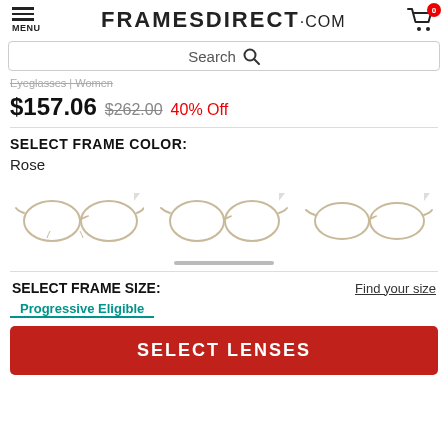FRAMESDIRECT.COM — MENU, Search, Cart (0)
Eyeglasses | Women
$157.06  $262.00  40% Off
SELECT FRAME COLOR:
Rose
[Figure (photo): Three views of rose/gold women's eyeglass frames displayed side by side with carousel indicator below]
SELECT FRAME SIZE:
Find your size
Progressive Eligible
SELECT LENSES